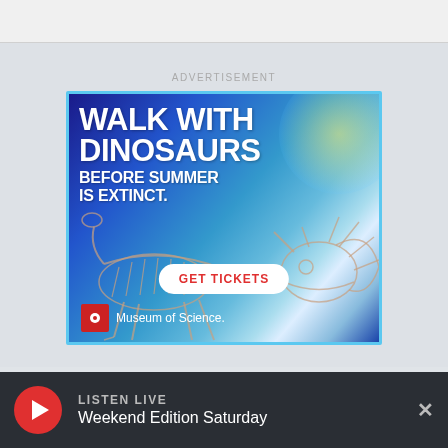[Figure (other): Light gray top bar area at the top of the page]
ADVERTISEMENT
[Figure (illustration): Museum of Science advertisement banner with dinosaur skeletons on a blue gradient background. Text reads: WALK WITH DINOSAURS BEFORE SUMMER IS EXTINCT. Button: GET TICKETS. Logo: Museum of Science.]
LISTEN LIVE
Weekend Edition Saturday